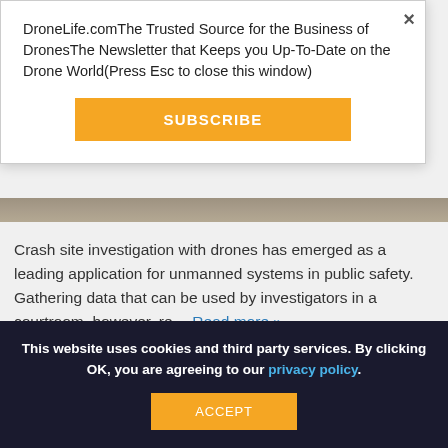DroneLife.comThe Trusted Source for the Business of DronesThe Newsletter that Keeps you Up-To-Date on the Drone World(Press Esc to close this window)
[Figure (other): Orange SUBSCRIBE button in modal popup]
[Figure (photo): Drone crash site aerial image strip]
Crash site investigation with drones has emerged as a leading application for unmanned systems in public safety. Gathering data that can be used by investigators in a courtroom, however, re… Read more »
[Figure (other): Social share buttons: Facebook, Twitter, LinkedIn]
This website uses cookies and third party services. By clicking OK, you are agreeing to our privacy policy.
[Figure (other): Orange ACCEPT button in cookie consent bar]